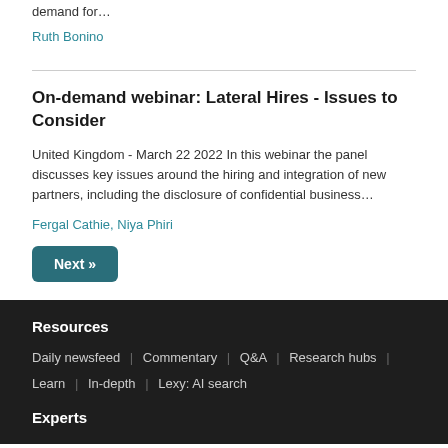demand for…
Ruth Bonino
On-demand webinar: Lateral Hires - Issues to Consider
United Kingdom - March 22 2022 In this webinar the panel discusses key issues around the hiring and integration of new partners, including the disclosure of confidential business…
Fergal Cathie, Niya Phiri
Next »
Resources
Daily newsfeed | Commentary | Q&A | Research hubs | Learn | In-depth | Lexy: AI search
Experts